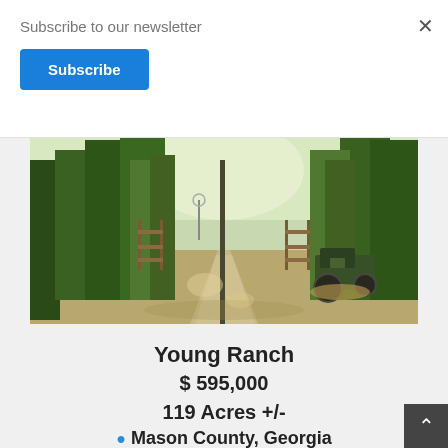Subscribe to our newsletter
Subscribe
[Figure (photo): Ranch entrance with gravel driveway, wooden fence gate, tall green trees, and an old green tractor parked on the right side. Natural rural Georgia landscape.]
Young Ranch
$ 595,000
119 Acres +/-
Mason County, Georgia